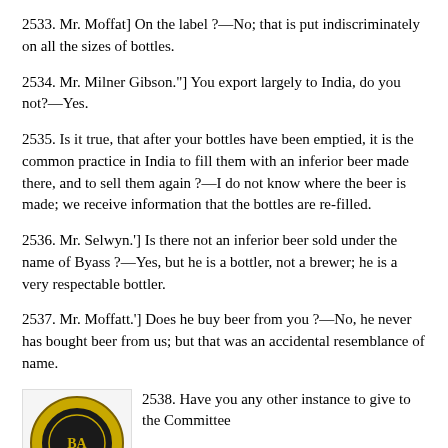2533. Mr. Moffat] On the label ?—No; that is put indiscriminately on all the sizes of bottles.
2534. Mr. Milner Gibson."] You export largely to India, do you not?—Yes.
2535. Is it true, that after your bottles have been emptied, it is the common practice in India to fill them with an inferior beer made there, and to sell them again ?—I do not know where the beer is made; we receive information that the bottles are re-filled.
2536. Mr. Selwyn.'] Is there not an inferior beer sold under the name of Byass ?—Yes, but he is a bottler, not a brewer; he is a very respectable bottler.
2537. Mr. Moffatt.'] Does he buy beer from you ?—No, he never has bought beer from us; but that was an accidental resemblance of name.
[Figure (logo): Circular seal or badge with gold and black design, partially visible at bottom left]
2538. Have you any other instance to give to the Committee